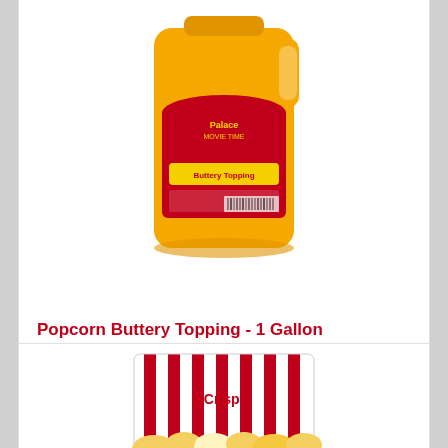[Figure (photo): Yellow 1-gallon jug of popcorn buttery topping with red label showing 'Buttery Topping' text]
Popcorn Buttery Topping - 1 Gallon
Complete the ultimate popcorn experience with this ready-to-..
★★★★★ (5 stars)
$34.99  $49.99
[Figure (photo): Partial view of a second product — appears to be popcorn containers/bags at the bottom of the page]